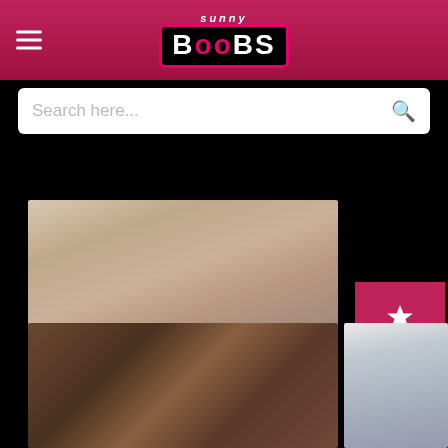[Figure (screenshot): Website header with pink/crimson gradient background, hamburger menu icon on left, and SunnyBoobs logo in center]
[Figure (screenshot): Search bar with placeholder text 'Search here...' and magnifying glass icon]
[Figure (screenshot): Four sidebar filter buttons on right: SOURCE (pink/red, star icon), DATE (dark gray, calendar icon), DURATION (dark gray, clock icon), GOUP (dark gray, up arrow icon)]
[Figure (photo): Adult content thumbnail - top image showing skin tones on white bedding]
[Figure (photo): Adult content thumbnail - bottom left showing two women outdoors near a vehicle]
[Figure (photo): Adult content thumbnail - bottom right showing man and woman on white couch]